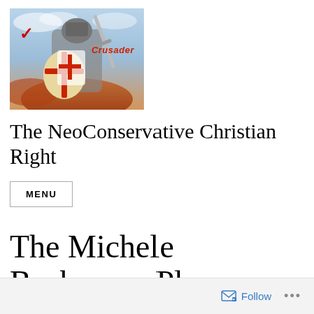[Figure (illustration): Crusader knight in armor holding a sword and shield with red cross, with a red checkmark in the upper left and the word 'Crusader' in red italic text overlay. Background shows clouds and fire.]
The NeoConservative Christian Right
MENU
The Michele Bachmann Plan
Rate This
Follow ...